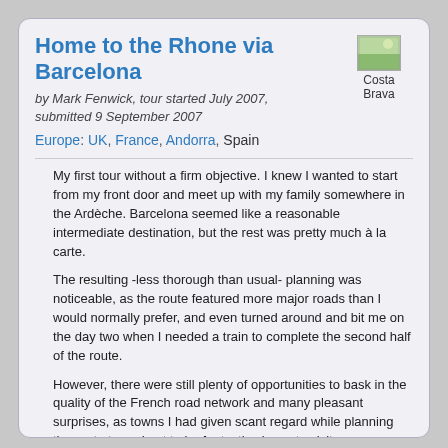Home to the Rhone via Barcelona
by Mark Fenwick, tour started July 2007, submitted 9 September 2007
Europe: UK, France, Andorra, Spain
[Figure (photo): Costa Brava image thumbnail]
My first tour without a firm objective. I knew I wanted to start from my front door and meet up with my family somewhere in the Ardèche. Barcelona seemed like a reasonable intermediate destination, but the rest was pretty much à la carte.
The resulting -less thorough than usual- planning was noticeable, as the route featured more major roads than I would normally prefer, and even turned around and bit me on the day two when I needed a train to complete the second half of the route.
However, there were still plenty of opportunities to bask in the quality of the French road network and many pleasant surprises, as towns I had given scant regard while planning the route turned out to be fantastic places to visit.